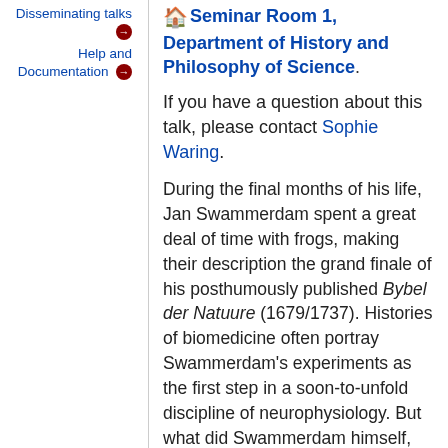Disseminating talks →
Help and Documentation →
🏠 Seminar Room 1, Department of History and Philosophy of Science.
If you have a question about this talk, please contact Sophie Waring.
During the final months of his life, Jan Swammerdam spent a great deal of time with frogs, making their description the grand finale of his posthumously published Bybel der Natuure (1679/1737). Histories of biomedicine often portray Swammerdam's experiments as the first step in a soon-to-unfold discipline of neurophysiology. But what did Swammerdam himself, without this benefit of hindsight, think that he was doing? Frogs, this paper argues, were not neutral laboratory tools for experimenters, but entities sticky with cultural connotations. In particular the frog had a status, ongoing from the medieval period, as a creature that